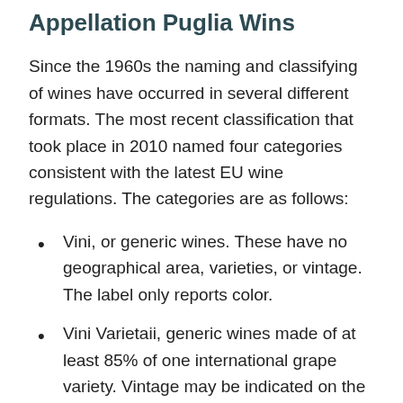Appellation Puglia Wins
Since the 1960s the naming and classifying of wines have occurred in several different formats. The most recent classification that took place in 2010 named four categories consistent with the latest EU wine regulations. The categories are as follows:
Vini, or generic wines. These have no geographical area, varieties, or vintage. The label only reports color.
Vini Varietaii, generic wines made of at least 85% of one international grape variety. Vintage may be indicated on the